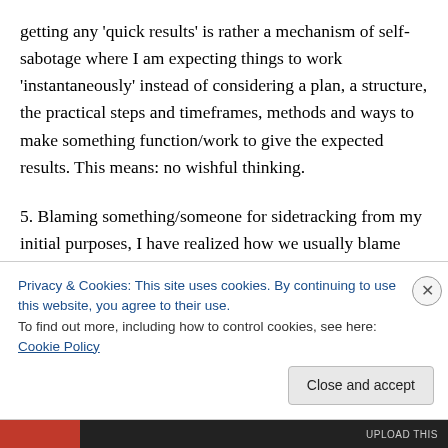getting any 'quick results' is rather a mechanism of self-sabotage where I am expecting things to work 'instantaneously' instead of considering a plan, a structure, the practical steps and timeframes, methods and ways to make something function/work to give the expected results. This means: no wishful thinking.
5. Blaming something/someone for sidetracking from my initial purposes, I have realized how we usually blame something/someone in order to not recognize our sole responsibility to our decisions, words, thoughts and deeds.
Privacy & Cookies: This site uses cookies. By continuing to use this website, you agree to their use.
To find out more, including how to control cookies, see here: Cookie Policy